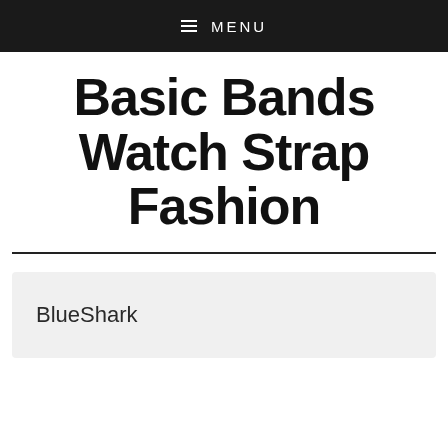MENU
Basic Bands Watch Strap Fashion
BlueShark